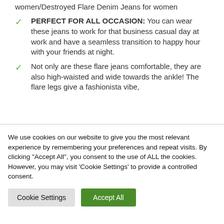women/Destroyed Flare Denim Jeans for women
PERFECT FOR ALL OCCASION: You can wear these jeans to work for that business casual day at work and have a seamless transition to happy hour with your friends at night.
Not only are these flare jeans comfortable, they are also high-waisted and wide towards the ankle! The flare legs give a fashionista vibe,
We use cookies on our website to give you the most relevant experience by remembering your preferences and repeat visits. By clicking "Accept All", you consent to the use of ALL the cookies. However, you may visit 'Cookie Settings' to provide a controlled consent.